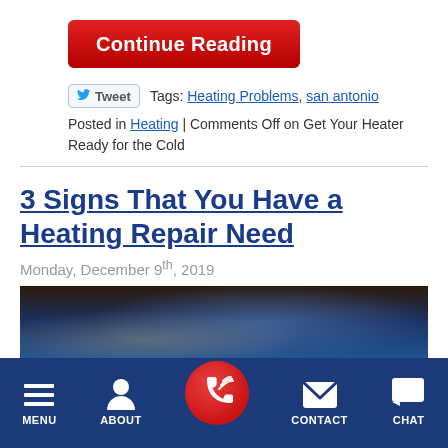Continue Reading ⊙
Tweet  Tags: Heating Problems, san antonio
Posted in Heating | Comments Off on Get Your Heater Ready for the Cold
3 Signs That You Have a Heating Repair Need
Monday, December 9th, 2019
[Figure (photo): Photo of heating equipment with blue and brown tones]
MENU  ABOUT  [phone button]  CONTACT  CHAT